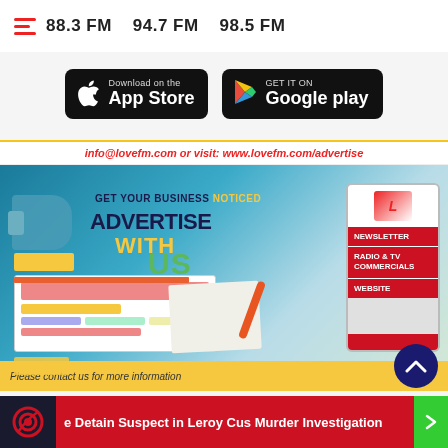88.3 FM   94.7 FM   98.5 FM
[Figure (screenshot): App Store and Google Play download buttons for Love FM mobile app]
[Figure (infographic): Advertise with Love FM banner. Text: info@lovefm.com or visit: www.lovefm.com/advertise. GET YOUR BUSINESS NOTICED. ADVERTISE WITH US. NEWSLETTER, RADIO & TV COMMERCIALS, WEBSITE. Please contact us for more information.]
FOLLOW US:
e Detain Suspect in Leroy Cus Murder Investigation